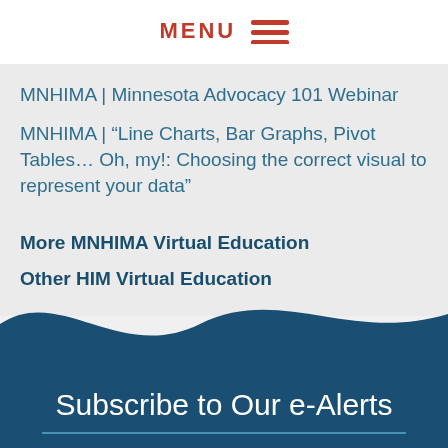MENU
MNHIMA | Minnesota Advocacy 101 Webinar
MNHIMA | “Line Charts, Bar Graphs, Pivot Tables… Oh, my!: Choosing the correct visual to represent your data”
More MNHIMA Virtual Education
Other HIM Virtual Education
Subscribe to Our e-Alerts